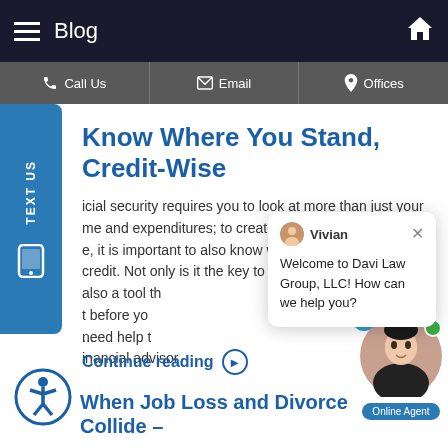Blog
Call Us | Email | Offices
Know Where You Stand, Credit-Wise
icial security requires you to look at more than just your me and expenditures; to create true hope for your e, it is important to also know where you stand with credit. Not only is it the key to forging your new life, but also a tool th... t before yo... need help t... inancial advisor...
...
Continue reading
[Figure (screenshot): Chat popup from Vivian: 'Welcome to Davi Law Group, LLC! How can we help you?']
[Figure (illustration): Accessibility icon (person in circle)]
[Figure (photo): Online Agent photo with badge showing 1 unread message and green online dot]
When Job Loss and Divorce Collide –